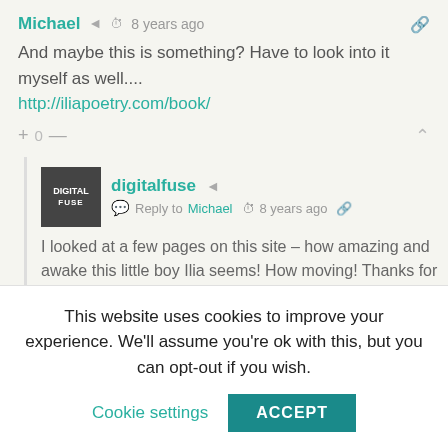Michael  8 years ago
And maybe this is something? Have to look into it myself as well.... http://iliapoetry.com/book/
+ 0 —
digitalfuse  Reply to Michael  8 years ago
I looked at a few pages on this site – how amazing and awake this little boy Ilia seems! How moving! Thanks for the link.
+ 0 —
This website uses cookies to improve your experience. We'll assume you're ok with this, but you can opt-out if you wish.
Cookie settings
ACCEPT